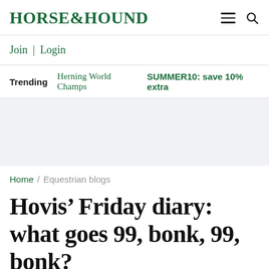HORSE&HOUND
Join | Login
Trending  Herning World Champs  SUMMER10: save 10% extra
Home / Equestrian blogs
Hovis’ Friday diary: what goes 99, bonk, 99, bonk?